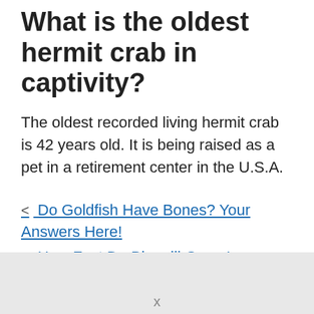What is the oldest hermit crab in captivity?
The oldest recorded living hermit crab is 42 years old. It is being raised as a pet in a retirement center in the U.S.A.
< Do Goldfish Have Bones? Your Answers Here!
> How Fast Do Bluegill Grow In Aquaponics? Your Answers Now!